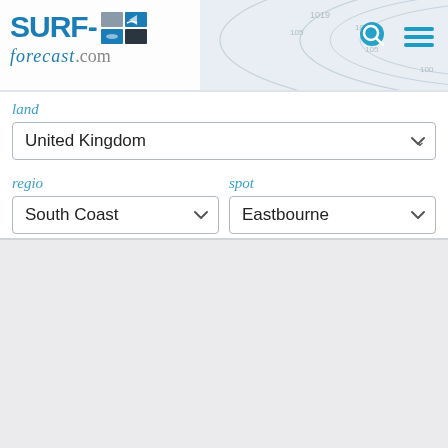[Figure (screenshot): Surf-forecast.com website header with logo, topographic map background, search icon, and hamburger menu icon]
land
United Kingdom
regio
South Coast
spot
Eastbourne